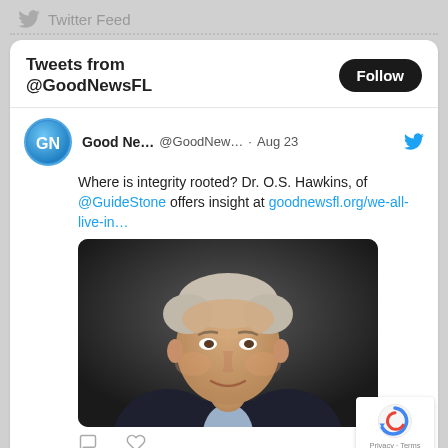Twitter Feed
[Figure (screenshot): Twitter feed widget showing tweets from @GoodNewsFL with a Follow button, and a tweet by Good Ne... @GoodNew... Aug 23 reading: 'Where is integrity rooted? Dr. O.S. Hawkins, of @GuideStone offers insight at goodnewsfl.org/we-all-live-in...' with a photo of an older man in a dark suit, and reply/like icons below]
Privacy · Terms